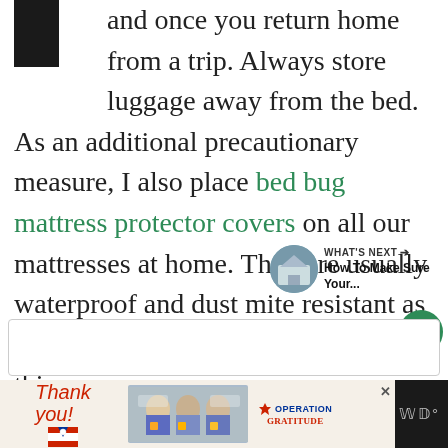and once you return home from a trip. Always store luggage away from the bed. As an additional precautionary measure, I also place bed bug mattress protector covers on all our mattresses at home. They are usually waterproof and dust mite resistant as well, so I highly recommend doing this.
[Figure (screenshot): Sidebar social share icons: heart/like button (teal circle), count of 1, and share button]
[Figure (screenshot): What's Next widget showing a house thumbnail photo and text 'How To Make Sure Your...']
[Figure (screenshot): Ad banner at bottom: Operation Gratitude thank-you ad with photo of masked workers holding packages, close button, and WD logo on black bar]